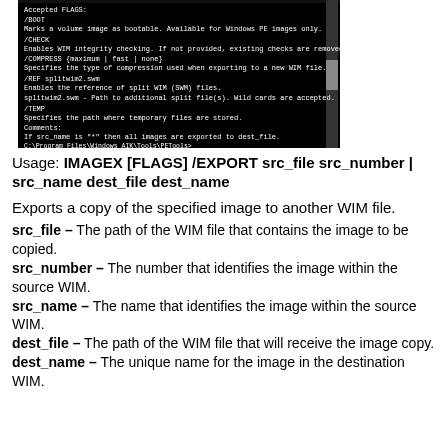[Figure (screenshot): A Windows command prompt (black background, white text) showing IMAGEX /EXPORT command help: Accepted FLAGS: /BOOT, /CHECK, /COMPRESS, /REF splitwim2.swm, /TEMP, Comments about src_name wildcard, Example command line, and a command prompt path at the bottom.]
Usage: IMAGEX [FLAGS] /EXPORT src_file src_number | src_name dest_file dest_name
Exports a copy of the specified image to another WIM file.
src_file – The path of the WIM file that contains the image to be copied.
src_number – The number that identifies the image within the source WIM.
src_name – The name that identifies the image within the source WIM.
dest_file – The path of the WIM file that will receive the image copy.
dest_name – The unique name for the image in the destination WIM.